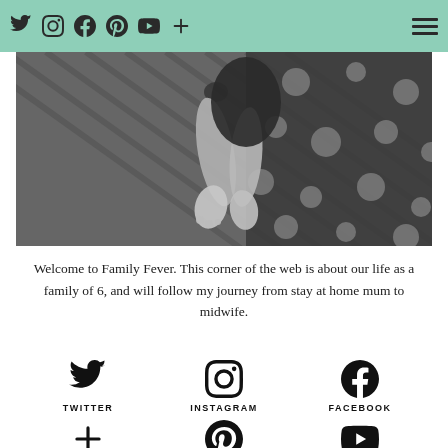Social media icons header bar with Twitter, Instagram, Facebook, Pinterest, YouTube, Plus, and hamburger menu
[Figure (photo): Black and white overhead photo of a baby lying on a wooden deck floor next to polka-dot fabric]
Welcome to Family Fever. This corner of the web is about our life as a family of 6, and will follow my journey from stay at home mum to midwife.
[Figure (infographic): Social media icons row: Twitter, Instagram, Facebook with labels]
[Figure (infographic): Social media icons row (partially visible): Plus/Bloglovin, Pinterest, YouTube]